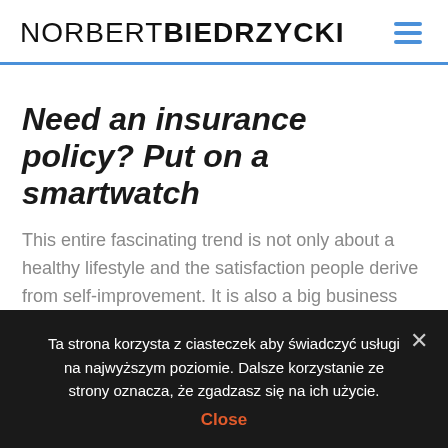NORBERT BIEDRZYCKI
Need an insurance policy? Put on a smartwatch
This entire fascinating trend is not only about a healthy lifestyle and the satisfaction people derive from self-improvement. It is also a big business that is poised to get even bigger, feeding on information from our brains, hearts and even dreams. The trend will enable the corporations that make a living processing our data to gain more accurate and more valuable insights into customer
Ta strona korzysta z ciasteczek aby świadczyć usługi na najwyższym poziomie. Dalsze korzystanie ze strony oznacza, że zgadzasz się na ich użycie.
Close